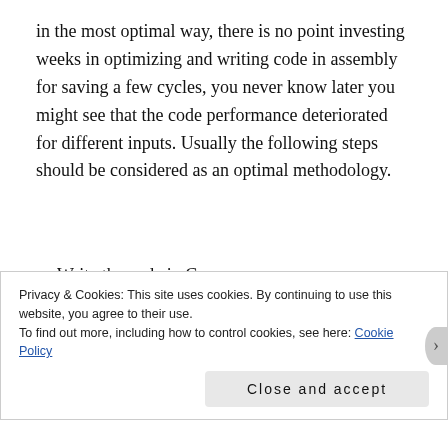in the most optimal way, there is no point investing weeks in optimizing and writing code in assembly for saving a few cycles, you never know later you might see that the code performance deteriorated for different inputs. Usually the following steps should be considered as an optimal methodology.
Write the code in C
Do profiling of the code and identify bottlenecks
Identify those critical parts of the code which should be improved
Privacy & Cookies: This site uses cookies. By continuing to use this website, you agree to their use.
To find out more, including how to control cookies, see here: Cookie Policy